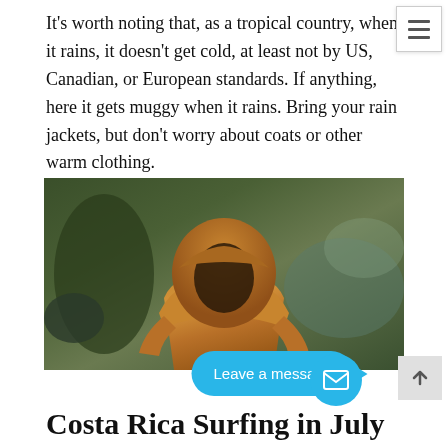It's worth noting that, as a tropical country, when it rains, it doesn't get cold, at least not by US, Canadian, or European standards. If anything, here it gets muggy when it rains. Bring your rain jackets, but don't worry about coats or other warm clothing.
[Figure (photo): Back view of a person wearing a tan/brown hooded rain jacket, standing outdoors in a blurred green background suggesting rain or overcast weather.]
Costa Rica Surfing in July